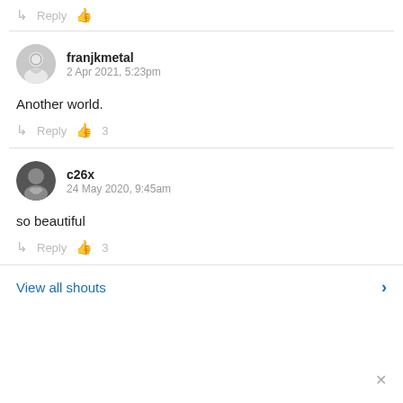Reply [thumbs up]
franjkmetal
2 Apr 2021, 5:23pm
Another world.
Reply [thumbs up] 3
c26x
24 May 2020, 9:45am
so beautiful
Reply [thumbs up] 3
View all shouts